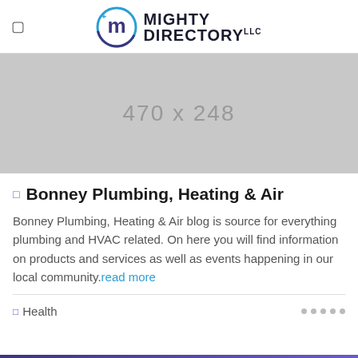Mighty Directory LLC
[Figure (other): Placeholder image 470 x 248]
Bonney Plumbing, Heating & Air
Bonney Plumbing, Heating & Air blog is source for everything plumbing and HVAC related. On here you will find information on products and services as well as events happening in our local community. read more
Health